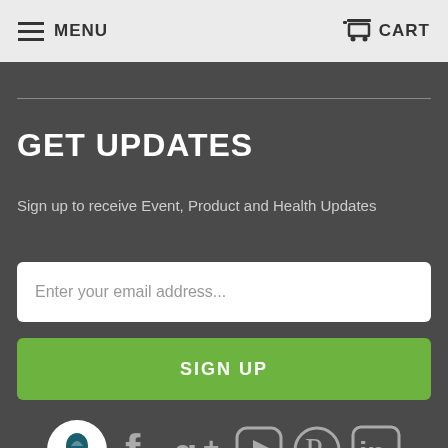MENU  CART
GET UPDATES
Sign up to receive Event, Product and Health Updates
Enter your email address...
SIGN UP
[Figure (logo): Social media icons: logo balloon, Facebook, Google+, YouTube, Pinterest, LinkedIn, Instagram, Email]